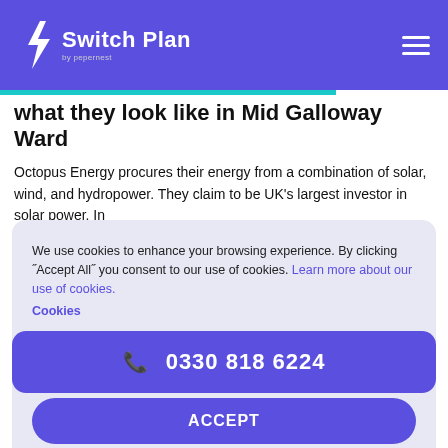Switch Plan by pepernest
what they look like in Mid Galloway Ward
Octopus Energy procures their energy from a combination of solar, wind, and hydropower. They claim to be UK's largest investor in solar power. In
We use cookies to enhance your browsing experience. By clicking ˝Accept All˝ you consent to our use of cookies. Learn more about our use of cookies. Cookies
DECLINE
ACCEPT
suppliers, such as Green Energy UK and Ecotricity
0330 818 6224
electricity distribution